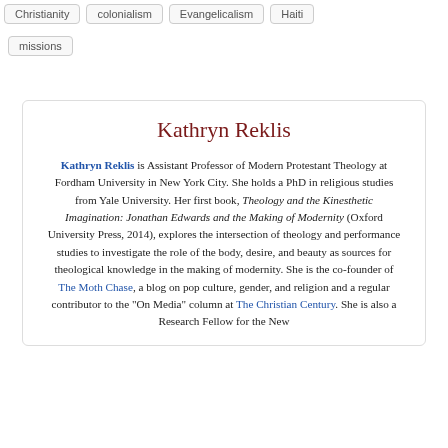Christianity
colonialism
Evangelicalism
Haiti
missions
Kathryn Reklis
Kathryn Reklis is Assistant Professor of Modern Protestant Theology at Fordham University in New York City. She holds a PhD in religious studies from Yale University. Her first book, Theology and the Kinesthetic Imagination: Jonathan Edwards and the Making of Modernity (Oxford University Press, 2014), explores the intersection of theology and performance studies to investigate the role of the body, desire, and beauty as sources for theological knowledge in the making of modernity. She is the co-founder of The Moth Chase, a blog on pop culture, gender, and religion and a regular contributor to the "On Media" column at The Christian Century. She is also a Research Fellow for the New